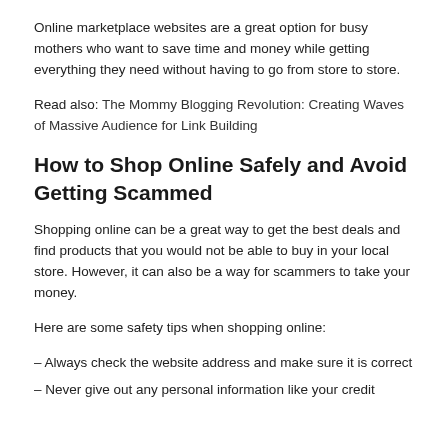Online marketplace websites are a great option for busy mothers who want to save time and money while getting everything they need without having to go from store to store.
Read also: The Mommy Blogging Revolution: Creating Waves of Massive Audience for Link Building
How to Shop Online Safely and Avoid Getting Scammed
Shopping online can be a great way to get the best deals and find products that you would not be able to buy in your local store. However, it can also be a way for scammers to take your money.
Here are some safety tips when shopping online:
– Always check the website address and make sure it is correct
– Never give out any personal information like your credit